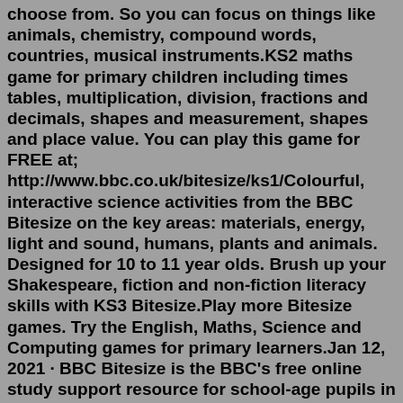choose from. So you can focus on things like animals, chemistry, compound words, countries, musical instruments.KS2 maths game for primary children including times tables, multiplication, division, fractions and decimals, shapes and measurement, shapes and place value. You can play this game for FREE at; http://www.bbc.co.uk/bitesize/ks1/Colourful, interactive science activities from the BBC Bitesize on the key areas: materials, energy, light and sound, humans, plants and animals. Designed for 10 to 11 year olds. Brush up your Shakespeare, fiction and non-fiction literacy skills with KS3 Bitesize.Play more Bitesize games. Try the English, Maths, Science and Computing games for primary learners.Jan 12, 2021 · BBC Bitesize is the BBC's free online study support resource for school-age pupils in the UK BBC Bitesize: Lockdown Learning TV schedule on CBBC, and how to get games, lessons and Bitesize Daily ... These free, MOBILE-FRIENDLY online games will help you learn more about the grammar of English